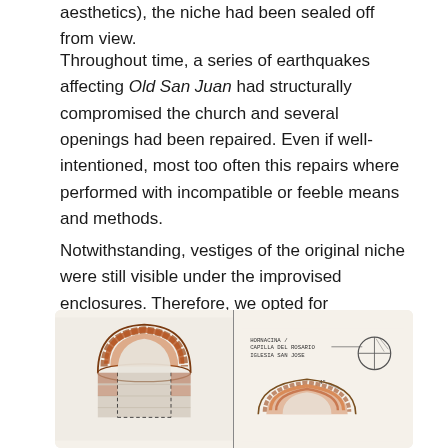aesthetics), the niche had been sealed off from view.
Throughout time, a series of earthquakes affecting Old San Juan had structurally compromised the church and several openings had been repaired. Even if well-intentioned, most too often this repairs where performed with incompatible or feeble means and methods.
Notwithstanding, vestiges of the original niche were still visible under the improvised enclosures. Therefore, we opted for reconstructing the niche, albeit ensuring an appropriate structural reinforcement of the fractured wall above.
[Figure (illustration): Two-page sketchbook spread showing architectural drawings of a niche. Left page shows a colored sketch of a brick arch niche with orange/brown masonry details and a white opening. Right page shows a technical sketch labeled 'HORNACINA / CAPILLA DEL ROSARIO / IGLESIA SAN JOSE' with annotations and a circular diagram showing a cross-section.]